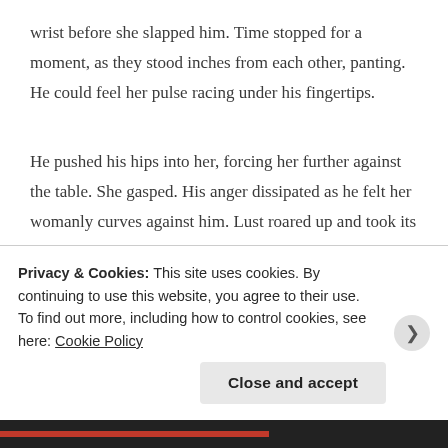wrist before she slapped him. Time stopped for a moment, as they stood inches from each other, panting. He could feel her pulse racing under his fingertips.
He pushed his hips into her, forcing her further against the table. She gasped. His anger dissipated as he felt her womanly curves against him. Lust roared up and took its place. His dick swelled and hardened. He could kiss her if he wanted to. And God, he wanted to. He felt himself
Privacy & Cookies: This site uses cookies. By continuing to use this website, you agree to their use.
To find out more, including how to control cookies, see here: Cookie Policy
Close and accept